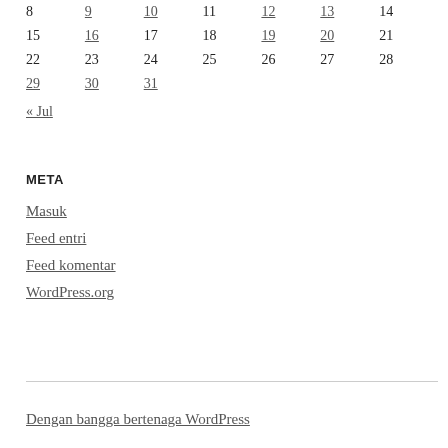| 8 | 9 | 10 | 11 | 12 | 13 | 14 |
| 15 | 16 | 17 | 18 | 19 | 20 | 21 |
| 22 | 23 | 24 | 25 | 26 | 27 | 28 |
| 29 | 30 | 31 |  |  |  |  |
« Jul
META
Masuk
Feed entri
Feed komentar
WordPress.org
Dengan bangga bertenaga WordPress